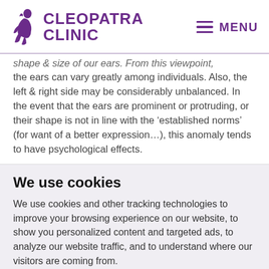CLEOPATRA CLINIC | MENU
shape & size of our ears. From this viewpoint, the ears can vary greatly among individuals. Also, the left & right side may be considerably unbalanced. In the event that the ears are prominent or protruding, or their shape is not in line with the ‘established norms’ (for want of a better expression…), this anomaly tends to have psychological effects.
We use cookies
We use cookies and other tracking technologies to improve your browsing experience on our website, to show you personalized content and targeted ads, to analyze our website traffic, and to understand where our visitors are coming from.